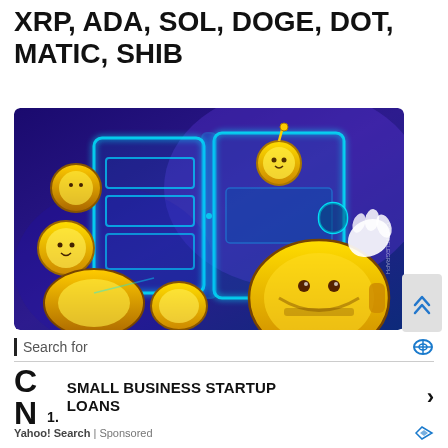XRP, ADA, SOL, DOGE, DOT, MATIC, SHIB
[Figure (illustration): Cartoon illustration of glowing blue digital crypto wallet open with animated coin characters around it on a purple/blue gradient background. Cointelegraph watermark visible.]
Search for
1. SMALL BUSINESS STARTUP LOANS
Yahoo! Search | Sponsored